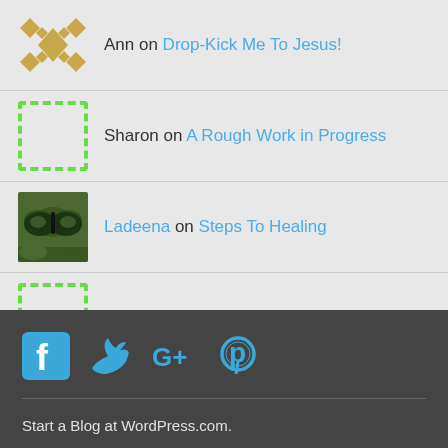Ann on Drop-Kick Me To Jesus!
Sharon on A Rough Work in Progress
Ladeena on Steps To Healing
Sharon on Steps To Healing
[Figure (infographic): Social media icons: Facebook, Twitter, Google+, Pinterest in blue/teal color]
Start a Blog at WordPress.com.